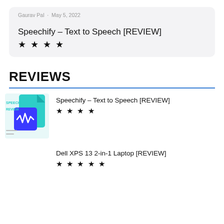Gaurav Pal · May 5, 2022
Speechify – Text to Speech [REVIEW]
★★★★
REVIEWS
[Figure (illustration): Speechify app logo/thumbnail: teal and blue graphic with text SPEECHIFY REVIEW and a waveform icon]
Speechify – Text to Speech [REVIEW]
★★★★
Dell XPS 13 2-in-1 Laptop [REVIEW]
★★★★★